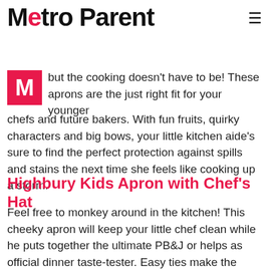Metro Parent
but the cooking doesn't have to be! These aprons are the just right fit for your younger chefs and future bakers. With fun fruits, quirky characters and big bows, your little kitchen aide's sure to find the perfect protection against spills and stains the next time she feels like cooking up a storm.
Highbury Kids Apron with Chef's Hat
Feel free to monkey around in the kitchen! This cheeky apron will keep your little chef clean while he puts together the ultimate PB&J or helps as official dinner taste-tester. Easy ties make the apron adjustable, and real chef's hat is included. Go bananas for one of these $29 sets at Zappos.